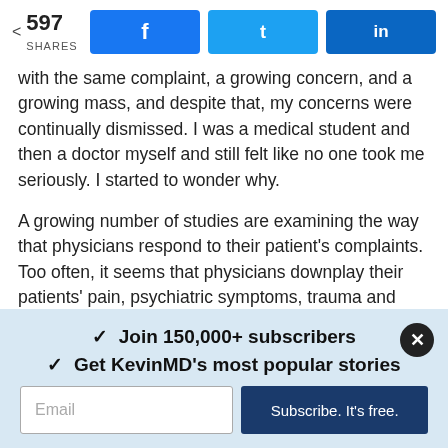597 SHARES | Facebook | Twitter | LinkedIn
with the same complaint, a growing concern, and a growing mass, and despite that, my concerns were continually dismissed. I was a medical student and then a doctor myself and still felt like no one took me seriously. I started to wonder why.
A growing number of studies are examining the way that physicians respond to their patient's complaints. Too often, it seems that physicians downplay their patients' pain, psychiatric symptoms, trauma and other concerning issues. Implicit biases and other psychosocial factors certainly influence our interactions with patients. Women, people with disabilities, minorities and other members of marginalized
✓ Join 150,000+ subscribers
✓ Get KevinMD's most popular stories
Email
Subscribe. It's free.